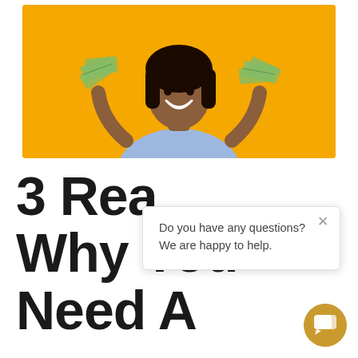[Figure (photo): Woman smiling holding fans of dollar bills in both hands, wearing a blue sweater, against a yellow/orange background]
3 Reasons Why You Need A
Do you have any questions? We are happy to help.